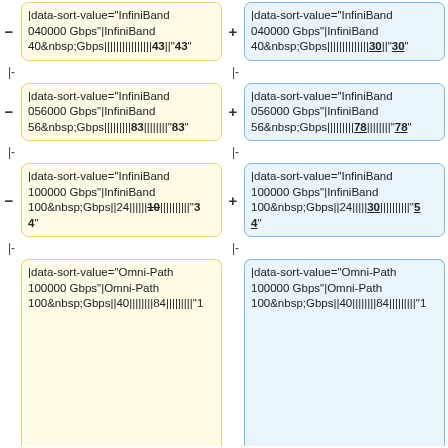|data-sort-value="InfiniBand 040000 Gbps"|InfiniBand 40&nbsp;Gbps||||||||||||||||43||"43"
|data-sort-value="InfiniBand 040000 Gbps"|InfiniBand 40&nbsp;Gbps||||||||||||||30||"30"
|-
|-
|data-sort-value="InfiniBand 056000 Gbps"|InfiniBand 56&nbsp;Gbps|||||||||83||||||||"83"
|data-sort-value="InfiniBand 056000 Gbps"|InfiniBand 56&nbsp;Gbps|||||||||78||||||||"78"
|-
|-
|data-sort-value="InfiniBand 100000 Gbps"|InfiniBand 100&nbsp;Gbps||24||||||10||||||||"34"
|data-sort-value="InfiniBand 100000 Gbps"|InfiniBand 100&nbsp;Gbps||24|||||30||||||||||"54"
|-
|-
|data-sort-value="Omni-Path 100000 Gbps"|Omni-Path 100&nbsp;Gbps||40||||||||84|||||||||"1
|data-sort-value="Omni-Path 100000 Gbps"|Omni-Path 100&nbsp;Gbps||40||||||||84|||||||||"1